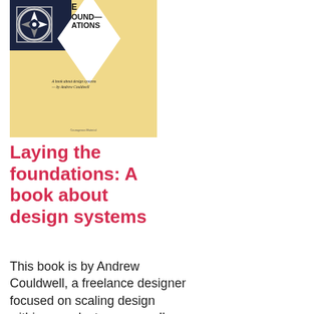[Figure (illustration): Book cover of 'Laying the Foundations' by Andrew Couldwell. Yellow/tan background with a white diamond shape, dark navy top-left corner containing a compass/navigation logo icon, bold black title text reading 'THE FOUND— ATIONS', subtitle 'A book about design systems — by Andrew Couldwell', and small publisher text at the bottom.]
Laying the foundations: A book about design systems
This book is by Andrew Couldwell, a freelance designer focused on scaling design within a product company. I've read this book through and find myself often referencing back to it while building out my